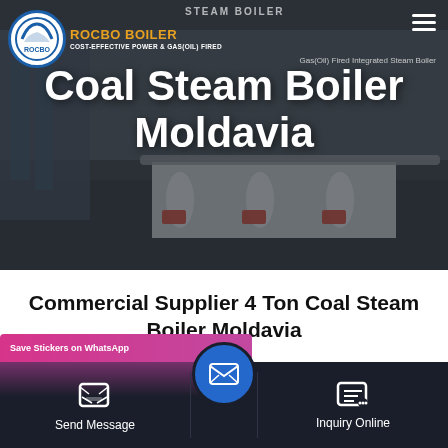[Figure (photo): Hero banner showing industrial coal steam boilers in a dark-toned image with a company website header overlay. Background shows large horizontal steam boiler units in an industrial setting.]
Coal Steam Boiler Moldavia
Commercial Supplier 4 Ton Coal Steam Boiler Moldavia
[Figure (screenshot): Bottom navigation bar with Send Message button on left, blue email/envelope button in center, and Inquiry Online button on right. Pink/purple WhatsApp sticker notification banner partially visible at top-left of bar.]